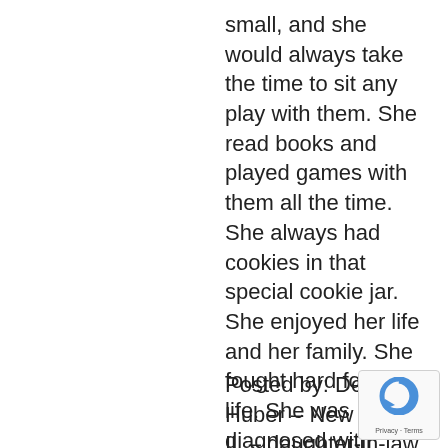small, and she would always take the time to sit any play with them. She read books and played games with them all the time. She always had cookies in that special cookie jar.
She enjoyed her life and her family. She fought hard for her life. She was diagnosed with athma at the age of 11. She lost her father at 13. Yes, she was a fighter. She fought until the bitter end and now I know she is up in heaven with her loved ones breathing easy.
I will miss you but never forget you. Thank you for being “D”
Posted by: Debbie Huber – New Athen IL – daughter-in-law Sep 28, 2012